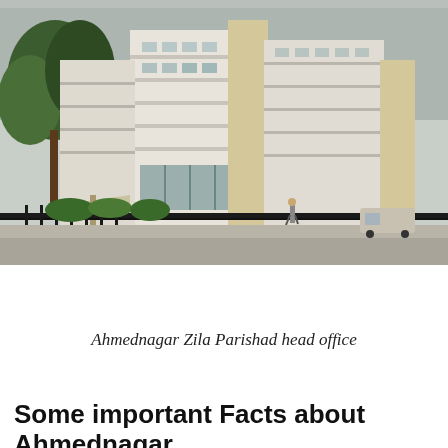[Figure (photo): Photograph of Ahmednagar Zila Parishad head office building — a multi-storey white and beige government office building with trees in front, iron fence, parked vehicles, and a person walking near the entrance.]
Ahmednagar Zila Parishad head office
Some important Facts about Ahmednagar